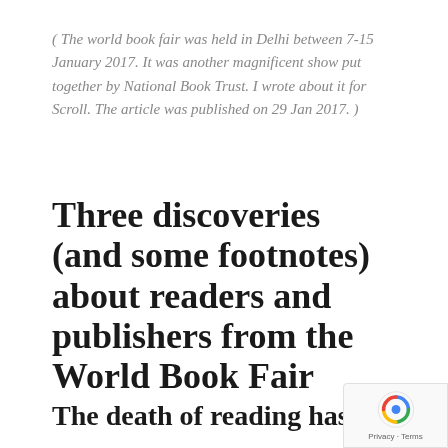( The world book fair was held in Delhi between 7-15 January 2017. It was another magnificent show put together by National Book Trust. I wrote about it for Scroll. The article was published on 29 Jan 2017. )
Three discoveries (and some footnotes) about readers and publishers from the World Book Fair
The death of reading has